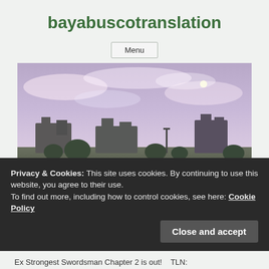bayabuscotranslation
Menu
[Figure (photo): Landscape photo showing a twilight sky with purple-pink clouds over silhouetted buildings and trees]
Ex Strongest Swordsman Longs For Magic
Privacy & Cookies: This site uses cookies. By continuing to use this website, you agree to their use.
To find out more, including how to control cookies, see here: Cookie Policy
Close and accept
Ex Strongest Swordsman Chapter 2 is out!    TLN: